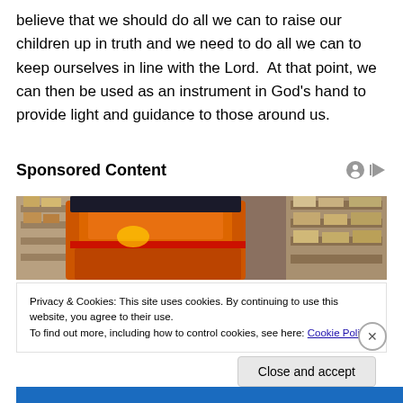believe that we should do all we can to raise our children up in truth and we need to do all we can to keep ourselves in line with the Lord.  At that point, we can then be used as an instrument in God's hand to provide light and guidance to those around us.
Sponsored Content
[Figure (photo): Warehouse interior with orange forklift and shelving units stacked with boxes]
Privacy & Cookies: This site uses cookies. By continuing to use this website, you agree to their use.
To find out more, including how to control cookies, see here: Cookie Policy
Close and accept